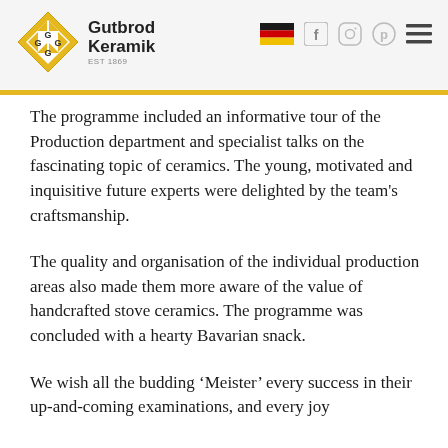Gutbrod Keramik est 1869
The programme included an informative tour of the Production department and specialist talks on the fascinating topic of ceramics. The young, motivated and inquisitive future experts were delighted by the team's craftsmanship.
The quality and organisation of the individual production areas also made them more aware of the value of handcrafted stove ceramics. The programme was concluded with a hearty Bavarian snack.
We wish all the budding ‘Meister’ every success in their up-and-coming examinations, and every joy in their chosen future...